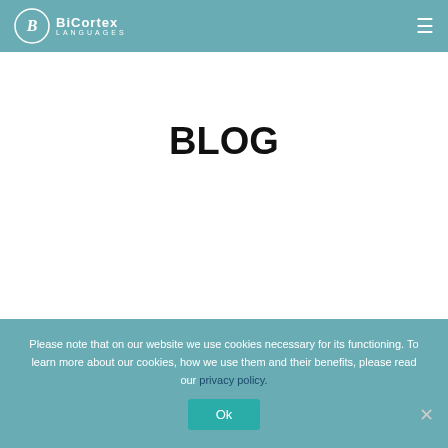BiCortex Languages
BLOG
Top 5
Please note that on our website we use cookies necessary for its functioning. To learn more about our cookies, how we use them and their benefits, please read our privacy policy.